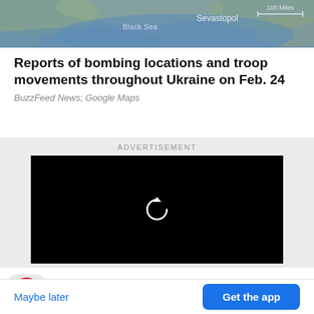[Figure (map): Satellite/terrain map showing Black Sea region with labels: Black Sea, Sevastopol, and scale indicator '100 Miles']
Reports of bombing locations and troop movements throughout Ukraine on Feb. 24
BuzzFeed News; Google Maps
[Figure (screenshot): Advertisement section with black video player showing a replay/reload icon (circular arrow) on a dark background]
[Figure (infographic): BuzzFeed app promotion banner with red circular BuzzFeed logo (white trending arrow), text: Get the latest news in the app! Stay up to date on the most breaking news, all from your BuzzFeed app.]
Maybe later
Get the app